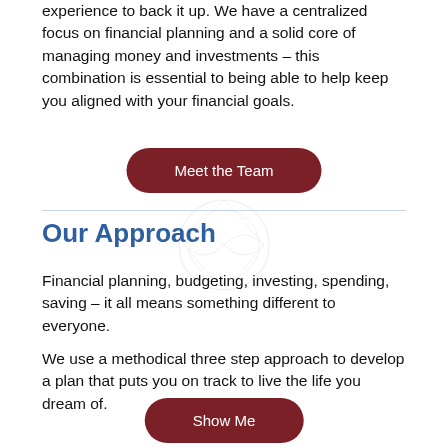experience to back it up. We have a centralized focus on financial planning and a solid core of managing money and investments – this combination is essential to being able to help keep you aligned with your financial goals.
Meet the Team
Our Approach
Financial planning, budgeting, investing, spending, saving – it all means something different to everyone.
We use a methodical three step approach to develop a plan that puts you on track to live the life you dream of.
Show Me